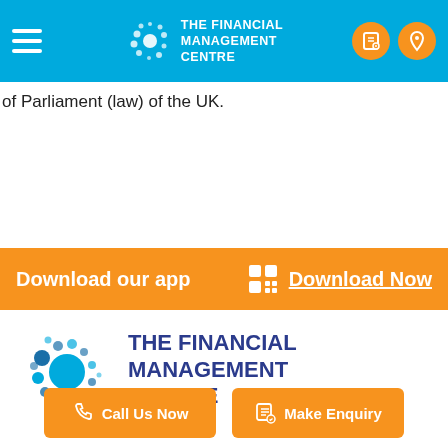THE FINANCIAL MANAGEMENT CENTRE
of Parliament (law) of the UK.
Download our app   Download Now
[Figure (logo): The Financial Management Centre logo with blue dot cluster and navy text]
Call Us Now   Make Enquiry